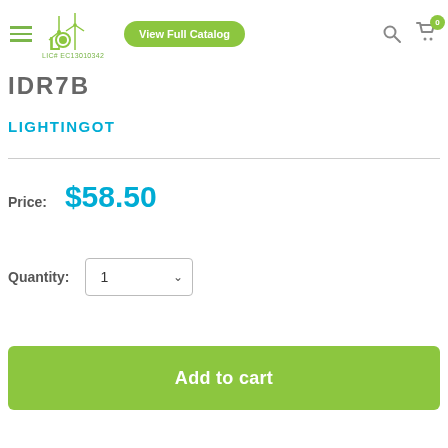LIC# EC13010342 | View Full Catalog
IDR7B
LIGHTINGOT
Price: $58.50
Quantity: 1
Add to cart